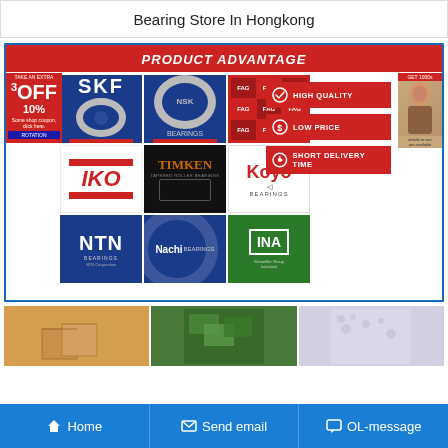Bearing Store In Hongkong
[Figure (screenshot): Product advantage banner showing bearing brand logos (SKF, NSK, FAG, IKO, TIMKEN, Koyo, NTN, Nachi, INA) in a grid with red 'HIGH QUALITY', 'LOW PRICE', 'SHORT DELIVERY TIME' advantage buttons on the right side. Left side has a red promotional banner with '3 OFF 10%'. Header reads 'PRODUCT ADVANTAGE' in red bar.]
[Figure (photo): Bottom strip showing three product images: cardboard boxes, green tarpaulin/fabric, and foam/bubble wrap packaging material.]
Home   Send email   OL-message